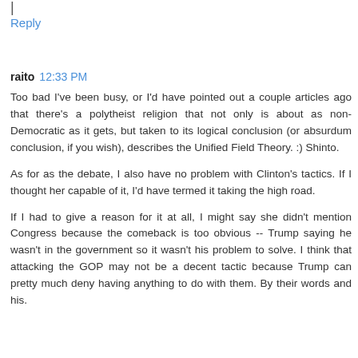|
Reply
raito  12:33 PM
Too bad I've been busy, or I'd have pointed out a couple articles ago that there's a polytheist religion that not only is about as non-Democratic as it gets, but taken to its logical conclusion (or absurdum conclusion, if you wish), describes the Unified Field Theory. :) Shinto.
As for as the debate, I also have no problem with Clinton's tactics. If I thought her capable of it, I'd have termed it taking the high road.
If I had to give a reason for it at all, I might say she didn't mention Congress because the comeback is too obvious -- Trump saying he wasn't in the government so it wasn't his problem to solve. I think that attacking the GOP may not be a decent tactic because Trump can pretty much deny having anything to do with them. By their words and his.